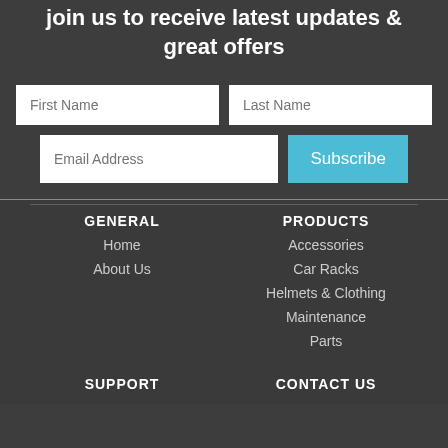join us to receive latest updates & great offers
[Figure (other): Subscription form with First Name, Last Name, Email Address fields and Subscribe button]
GENERAL
Home
About Us
PRODUCTS
Accessories
Car Racks
Helmets & Clothing
Maintenance
Parts
SUPPORT
CONTACT US